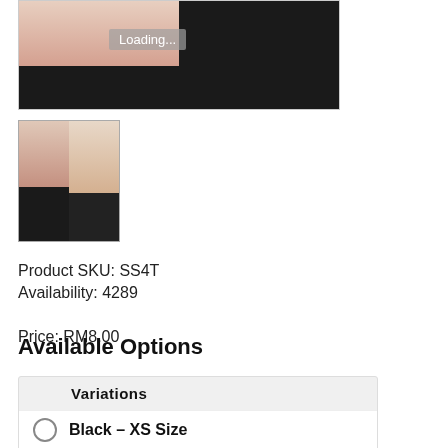[Figure (photo): Product image showing waist trainer/shaper garment, partially loading, with loading overlay text]
[Figure (photo): Thumbnail image of waist trainer product in two color variants (black and beige)]
Product SKU: SS4T
Availability: 4289
Price: RM8.00
Available Options
| Variations |
| --- |
| Black - XS Size |
| Black - S Size |
| Black - M Size |
| Black - L Size |